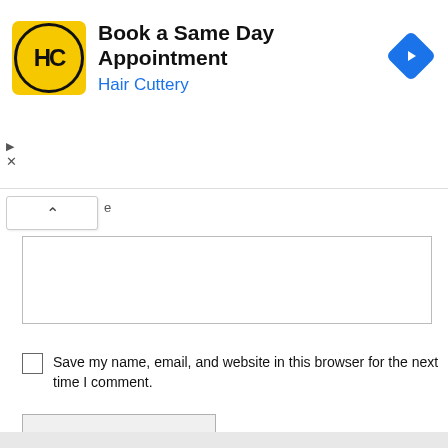[Figure (screenshot): Advertisement banner for Hair Cuttery with HC logo, title 'Book a Same Day Appointment', subtitle 'Hair Cuttery', and blue navigation icon]
e
Save my name, email, and website in this browser for the next time I comment.
Post Comment
Search
Search